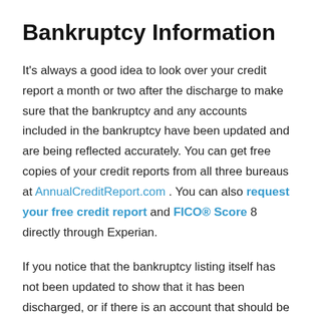Bankruptcy Information
It's always a good idea to look over your credit report a month or two after the discharge to make sure that the bankruptcy and any accounts included in the bankruptcy have been updated and are being reflected accurately. You can get free copies of your credit reports from all three bureaus at AnnualCreditReport.com . You can also request your free credit report and FICO® Score 8 directly through Experian.
If you notice that the bankruptcy listing itself has not been updated to show that it has been discharged, or if there is an account that should be showing discharged but has not been updated, you can dispute the information using Experian's online Dispute Center . Simply indicate which account you believe is appearing incorrectly and why. If you